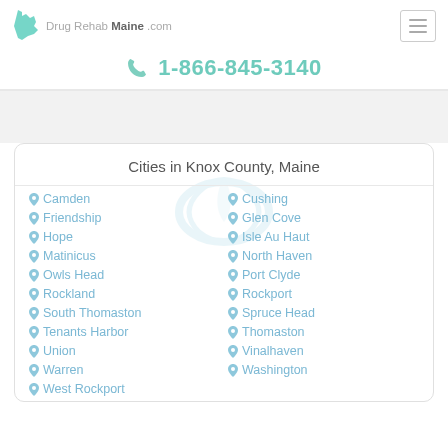Drug Rehab Maine .com
1-866-845-3140
Cities in Knox County, Maine
Camden
Cushing
Friendship
Glen Cove
Hope
Isle Au Haut
Matinicus
North Haven
Owls Head
Port Clyde
Rockland
Rockport
South Thomaston
Spruce Head
Tenants Harbor
Thomaston
Union
Vinalhaven
Warren
Washington
West Rockport